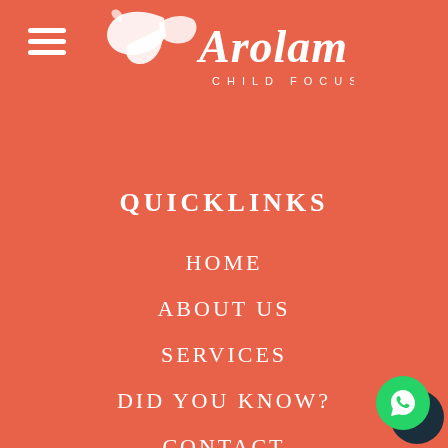[Figure (logo): Arolam Child Focused logo with hand/bird silhouette and stylized handwritten text, white on coral background]
QUICKLINKS
HOME
ABOUT US
SERVICES
DID YOU KNOW?
CONTACT
[Figure (illustration): WhatsApp chat bubble icon, green circle button, bottom right corner]